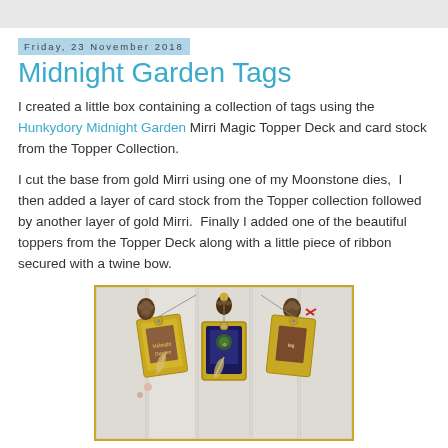Friday, 23 November 2018
Midnight Garden Tags
I created a little box containing a collection of tags using the Hunkydory Midnight Garden Mirri Magic Topper Deck and card stock from the Topper Collection.
I cut the base from gold Mirri using one of my Moonstone dies,  I then added a layer of card stock from the Topper collection followed by another layer of gold Mirri.  Finally I added one of the beautiful toppers from the Topper Deck along with a little piece of ribbon secured with a twine bow.
[Figure (photo): Photo of three decorative gold Midnight Garden tags hanging against a white stone/brick background, decorated with pinecones, ribbon, and floral toppers.]